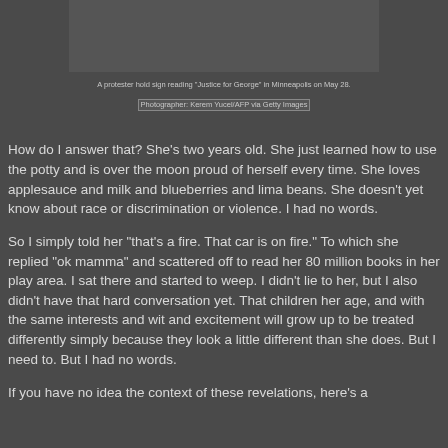[Figure (photo): Partial view of a protest scene, top portion of image showing protester with sign in Minneapolis]
A protester hold sign reading "Justice for George" in Minneapolis on May 28.
Photographer: Kerem Yucel/AFP via Getty Images
How do I answer that? She's two years old. She just learned how to use the potty and is over the moon proud of herself every time. She loves applesauce and milk and blueberries and lima beans. She doesn't yet know about race or discrimination or violence. I had no words.
So I simply told her "that's a fire. That car is on fire." To which she replied "ok mamma" and scattered off to read her 80 million books in her play area. I sat there and started to weep. I didn't lie to her, but I also didn't have that hard conversation yet. That children her age, and with the same interests and wit and excitement will grow up to be treated differently simply because they look a little different than she does. But I need to. But I had no words.
If you have no idea the context of these revelations, here's a